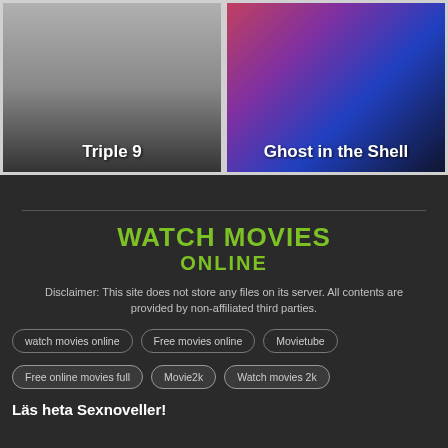[Figure (photo): Movie card thumbnail for 'Triple 9' – grayscale/dark gradient image with white bold title text at bottom center]
[Figure (photo): Movie card thumbnail for 'Ghost in the Shell' – colorful purple/red/blue fantasy figure image with white bold title text at bottom center]
[Figure (logo): WATCH MOVIES ONLINE logo in bold green text on dark background]
Disclaimer: This site does not store any files on its server. All contents are provided by non-affiliated third parties.
watch movies online
Free movies online
Movietube
Free online movies full
Movie2k
Watch movies 2k
Läs heta Sexnoveller!